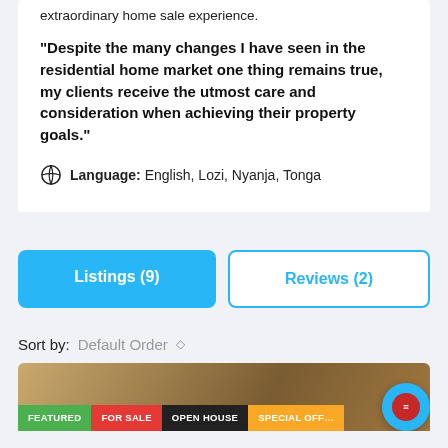extraordinary home sale experience.
“Despite the many changes I have seen in the residential home market one thing remains true, my clients receive the utmost care and consideration when achieving their property goals.”
Language: English, Lozi, Nyanja, Tonga
Listings (9)
Reviews (2)
Sort by: Default Order
[Figure (photo): Property listing image with tags: FEATURED, FOR SALE, OPEN HOUSE, SPECIAL OFFER and a chat support button]